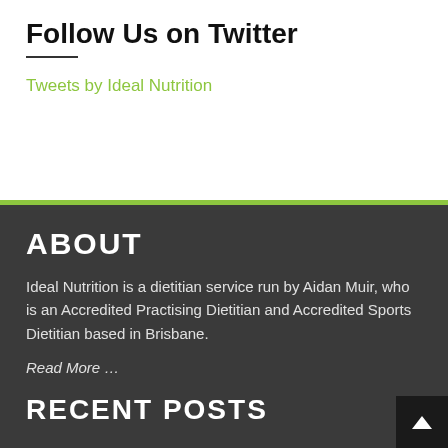Follow Us on Twitter
Tweets by Ideal Nutrition
ABOUT
Ideal Nutrition is a dietitian service run by Aidan Muir, who is an Accredited Practising Dietitian and Accredited Sports Dietitian based in Brisbane.
Read More …
RECENT POSTS